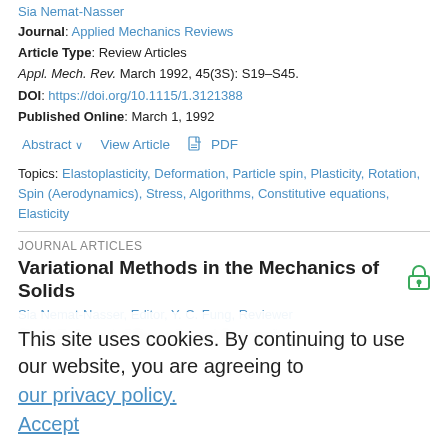Sia Nemat-Nasser
Journal: Applied Mechanics Reviews
Article Type: Review Articles
Appl. Mech. Rev. March 1992, 45(3S): S19–S45.
DOI: https://doi.org/10.1115/1.3121388
Published Online: March 1, 1992
Abstract  View Article  PDF
Topics: Elastoplasticity, Deformation, Particle spin, Plasticity, Rotation, Spin (Aerodynamics), Stress, Algorithms, Constitutive equations, Elasticity
JOURNAL ARTICLES
Variational Methods in the Mechanics of Solids
Sia Nemat-Nasser, Editor, Y. C. Fung, Reviewer
Journal: Journal of Biomechanical Engineering
This site uses cookies. By continuing to use our website, you are agreeing to our privacy policy. Accept